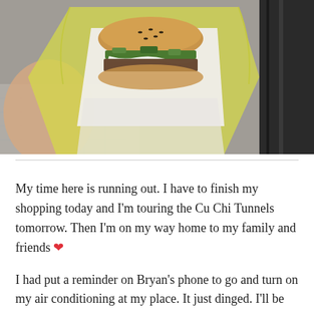[Figure (photo): A hand holding a banh mi sandwich wrapped in white paper and a yellow plastic bag, photographed from above on a tiled surface.]
My time here is running out. I have to finish my shopping today and I'm touring the Cu Chi Tunnels tomorrow. Then I'm on my way home to my family and friends ❤
I had put a reminder on Bryan's phone to go and turn on my air conditioning at my place. It just dinged. I'll be